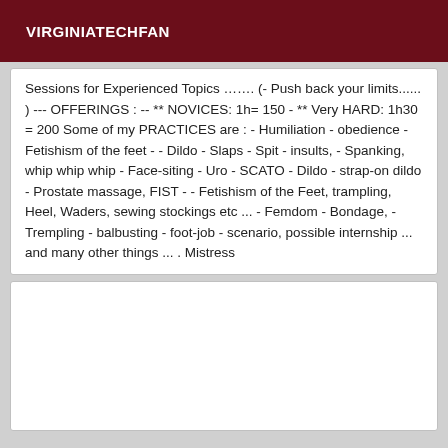VIRGINIATECHFAN
Sessions for Experienced Topics ……. (- Push back your limits...... ) --- OFFERINGS : -- ** NOVICES: 1h= 150 - ** Very HARD: 1h30 = 200 Some of my PRACTICES are : - Humiliation - obedience - Fetishism of the feet - - Dildo - Slaps - Spit - insults, - Spanking, whip whip whip - Face-siting - Uro - SCATO - Dildo - strap-on dildo - Prostate massage, FIST - - Fetishism of the Feet, trampling, Heel, Waders, sewing stockings etc ... - Femdom - Bondage, - Trempling - balbusting - foot-job - scenario, possible internship ... and many other things ... . Mistress